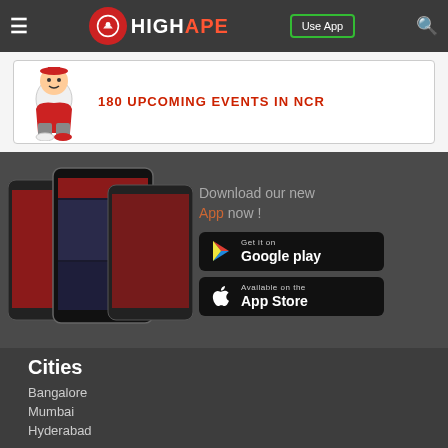HighApe — Navigation bar with logo, Use App button, search icon
[Figure (screenshot): Banner with mascot character and text '180 UPCOMING EVENTS IN NCR']
[Figure (screenshot): App promotion section showing phone screenshots with HighApe app, Google Play and App Store download buttons, headline 'Download our new App now!']
Cities
Bangalore
Mumbai
Hyderabad